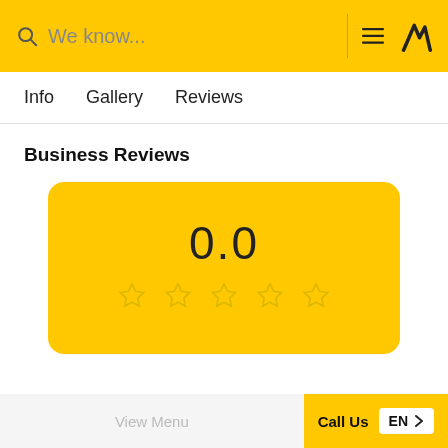We know...
Info   Gallery   Reviews
Business Reviews
[Figure (infographic): Rating card with yellow background showing 0.0 score and 5 empty stars]
View Menu   Call Us   EN >